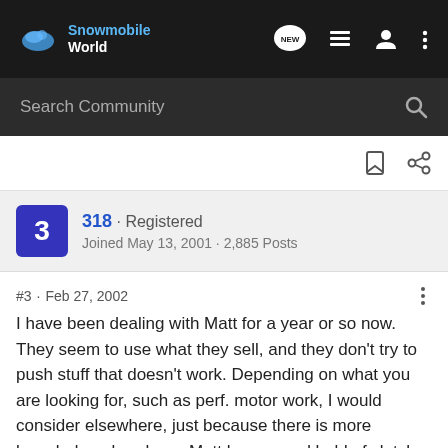[Figure (screenshot): Snowmobile World forum website header with logo, NEW button, list icon, user icon, and more icon on dark background]
[Figure (screenshot): Search Community search bar on dark background]
[Figure (screenshot): Action bar with bookmark and share icons]
318 · Registered
Joined May 13, 2001 · 2,885 Posts
#3 · Feb 27, 2002
I have been dealing with Matt for a year or so now. They seem to use what they sell, and they don't try to push stuff that doesn't work. Depending on what you are looking for, such as perf. motor work, I would consider elsewhere, just because there is more knowledge elsewhere. Matt has a good hold of clutch kits, pipes, and other bolt on perf. though. I would recomend them.